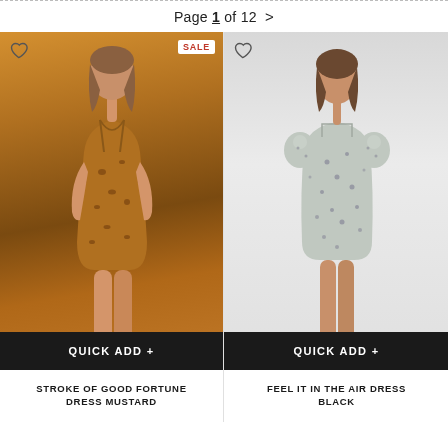Page 1 of 12 >
[Figure (photo): Woman wearing a mustard/brown leopard print spaghetti strap ruched mini dress, SALE badge visible, with QUICK ADD+ button and product name below]
[Figure (photo): Woman wearing a grey floral/ditsy print puff sleeve square neck mini dress, with QUICK ADD+ button and product name below]
STROKE OF GOOD FORTUNE DRESS MUSTARD
FEEL IT IN THE AIR DRESS BLACK